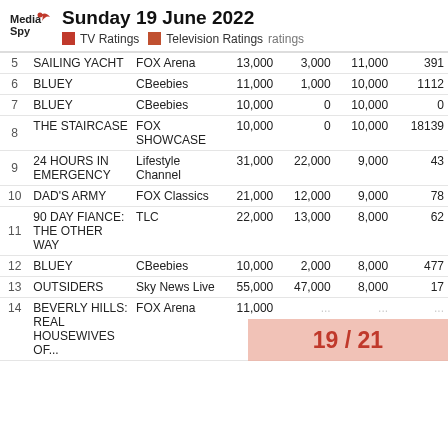Media Spy — Sunday 19 June 2022 — TV Ratings | Television Ratings ratings
| # | Show | Channel | Total | Metro | Regional | Rank |
| --- | --- | --- | --- | --- | --- | --- |
| 5 | SAILING YACHT | FOX Arena | 13,000 | 3,000 | 11,000 | 391 |
| 6 | BLUEY | CBeebies | 11,000 | 1,000 | 10,000 | 1112 |
| 7 | BLUEY | CBeebies | 10,000 | 0 | 10,000 | 0 |
| 8 | THE STAIRCASE | FOX SHOWCASE | 10,000 | 0 | 10,000 | 18139 |
| 9 | 24 HOURS IN EMERGENCY | Lifestyle Channel | 31,000 | 22,000 | 9,000 | 43 |
| 10 | DAD'S ARMY | FOX Classics | 21,000 | 12,000 | 9,000 | 78 |
| 11 | 90 DAY FIANCE: THE OTHER WAY | TLC | 22,000 | 13,000 | 8,000 | 62 |
| 12 | BLUEY | CBeebies | 10,000 | 2,000 | 8,000 | 477 |
| 13 | OUTSIDERS | Sky News Live | 55,000 | 47,000 | 8,000 | 17 |
| 14 | BEVERLY HILLS: REAL HOUSEWIVES OF... | FOX Arena | 11,000 | ... | ... | ... |
19 / 21